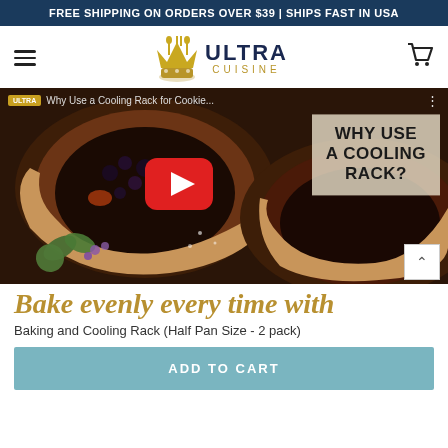FREE SHIPPING ON ORDERS OVER $39 | SHIPS FAST IN USA
[Figure (logo): Ultra Cuisine logo with crown/whisk icon, brand name ULTRA CUISINE]
[Figure (screenshot): YouTube video thumbnail showing baked tarts/galettes with text overlay 'WHY USE A COOLING RACK?' and red play button. Video title: Why Use a Cooling Rack for Cookie...]
Bake evenly every time with
Baking and Cooling Rack (Half Pan Size - 2 pack)
ADD TO CART